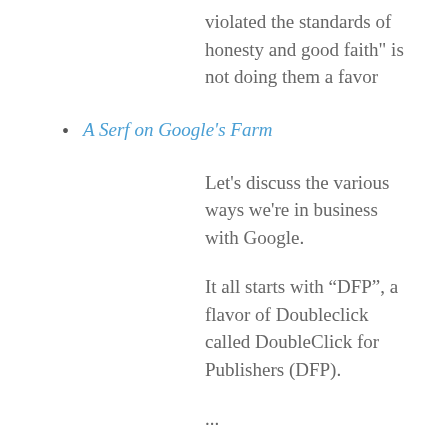violated the standards of honesty and good faith" is not doing them a favor
A Serf on Google's Farm
Let's discuss the various ways we're in business with Google.
It all starts with “DFP”, a flavor of Doubleclick called DoubleClick for Publishers (DFP).
...
Then there’s AdExchange.
...
Then there’s Google Analytics.
...
Next there’s search.